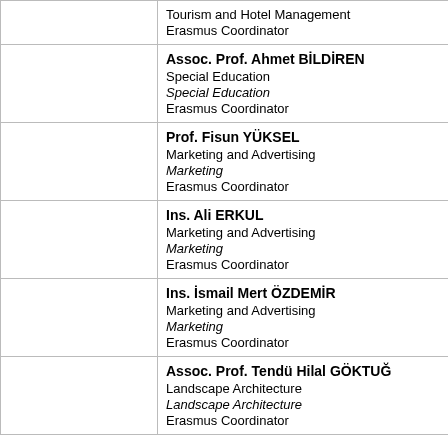|  |  |
| --- | --- |
|  | Tourism and Hotel Management
Erasmus Coordinator |
|  | Assoc. Prof. Ahmet BİLDİREN
Special Education
Special Education
Erasmus Coordinator |
|  | Prof. Fisun YÜKSEL
Marketing and Advertising
Marketing
Erasmus Coordinator |
|  | Ins. Ali ERKUL
Marketing and Advertising
Marketing
Erasmus Coordinator |
|  | Ins. İsmail Mert ÖZDEMİR
Marketing and Advertising
Marketing
Erasmus Coordinator |
|  | Assoc. Prof. Tendü Hilal GÖKTUĞ
Landscape Architecture
Landscape Architecture
Erasmus Coordinator |